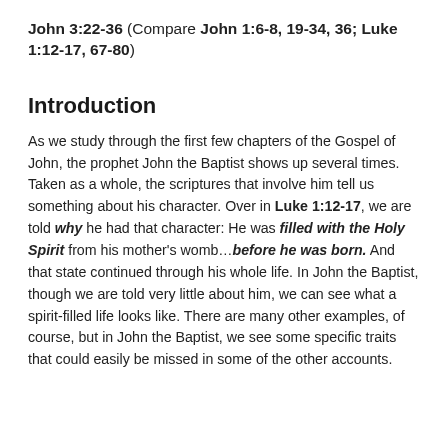John 3:22-36 (Compare John 1:6-8, 19-34, 36; Luke 1:12-17, 67-80)
Introduction
As we study through the first few chapters of the Gospel of John, the prophet John the Baptist shows up several times. Taken as a whole, the scriptures that involve him tell us something about his character. Over in Luke 1:12-17, we are told why he had that character: He was filled with the Holy Spirit from his mother's womb...before he was born. And that state continued through his whole life. In John the Baptist, though we are told very little about him, we can see what a spirit-filled life looks like. There are many other examples, of course, but in John the Baptist, we see some specific traits that could easily be missed in some of the other accounts.